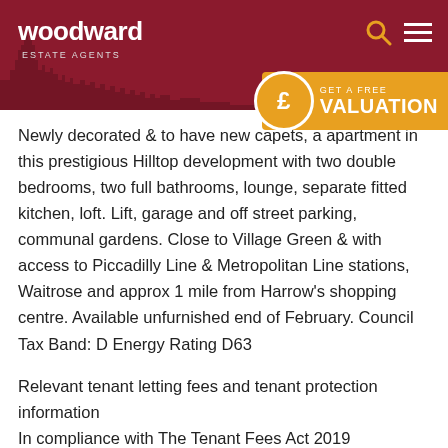woodward Estate Agents
Newly decorated & to have new capets, apartment in this prestigious Hilltop development with two double bedrooms, two full bathrooms, lounge, separate fitted kitchen, loft. Lift, garage and off street parking, communal gardens. Close to Village Green & with access to Piccadilly Line & Metropolitan Line stations, Waitrose and approx 1 mile from Harrow's shopping centre. Available unfurnished end of February. Council Tax Band: D Energy Rating D63
Relevant tenant letting fees and tenant protection information
In compliance with The Tenant Fees Act 2019
As well as paying the rent, you may also be required to